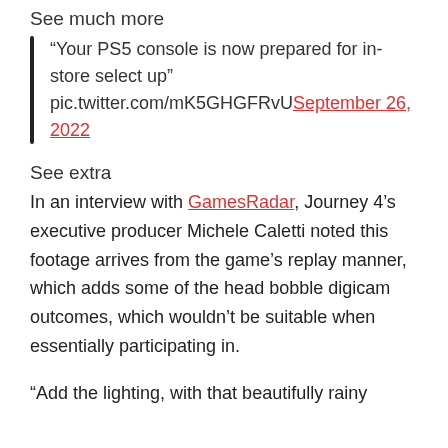See much more
“Your PS5 console is now prepared for in-store select up” pic.twitter.com/mK5GHGFRvU September 26, 2022
See extra
In an interview with GamesRadar, Journey 4’s executive producer Michele Caletti noted this footage arrives from the game’s replay manner, which adds some of the head bobble digicam outcomes, which wouldn’t be suitable when essentially participating in.
“Add the lighting, with that beautifully rainy